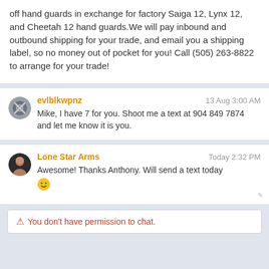off hand guards in exchange for factory Saiga 12, Lynx 12, and Cheetah 12 hand guards.We will pay inbound and outbound shipping for your trade, and email you a shipping label, so no money out of pocket for you! Call (505) 263-8822 to arrange for your trade!
evlblkwpnz
13 Aug 3:00 AM
Mike, I have 7 for you. Shoot me a text at 904 849 7874 and let me know it is you.
Lone Star Arms
Today 2:32 PM
Awesome! Thanks Anthony. Will send a text today 🙂
⚠ You don't have permission to chat.